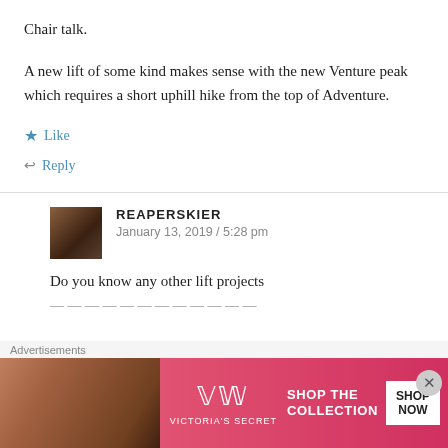Chair talk.
A new lift of some kind makes sense with the new Venture peak which requires a short uphill hike from the top of Adventure.
Like
Reply
REAPERSKIER
January 13, 2019 / 5:28 pm
Do you know any other lift projects
[Figure (screenshot): Victoria's Secret advertisement banner showing a model, VS logo, 'SHOP THE COLLECTION' text, and 'SHOP NOW' button]
Advertisements